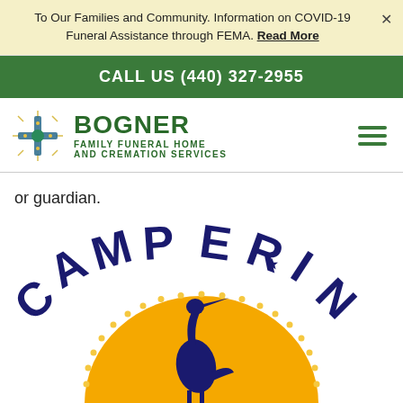To Our Families and Community. Information on COVID-19 Funeral Assistance through FEMA. Read More
CALL US (440) 327-2955
[Figure (logo): Bogner Family Funeral Home and Cremation Services logo with decorative cross/flower icon]
or guardian.
[Figure (logo): Camp Erin logo with heron bird on orange/gold sun circle, navy blue text arching over top]